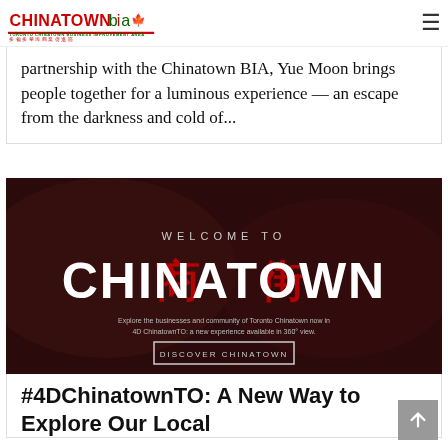Chinatown BIA — Toronto Chinatown Business Improvement Area
partnership with the Chinatown BIA, Yue Moon brings people together for a luminous experience — an escape from the darkness and cold of...
[Figure (photo): Dark red/maroon background with 'WELCOME TO CHINATOWN' text overlay in white and red Chinese characters; subtitle text about 4D ChinatownTO experience in 360 view; 'DISCOVER CHINATOWN' button]
#4DChinatownTO: A New Way to Explore Our Local